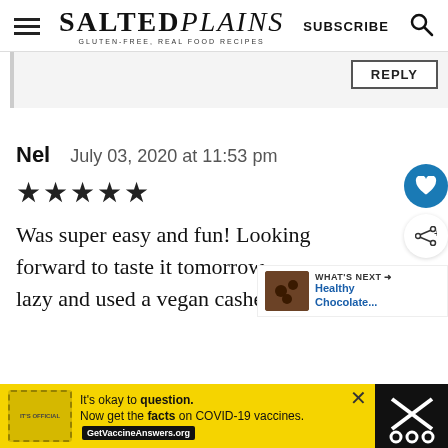SALTED plains — GLUTEN-FREE, REAL FOOD RECIPES | SUBSCRIBE
REPLY
Nel    July 03, 2020 at 11:53 pm
★★★★★
Was super easy and fun! Looking forward to taste it tomorrow lazy and used a vegan cashew
WHAT'S NEXT → Healthy Chocolate...
It's okay to question. Now get the facts on COVID-19 vaccines. GetVaccineAnswers.org